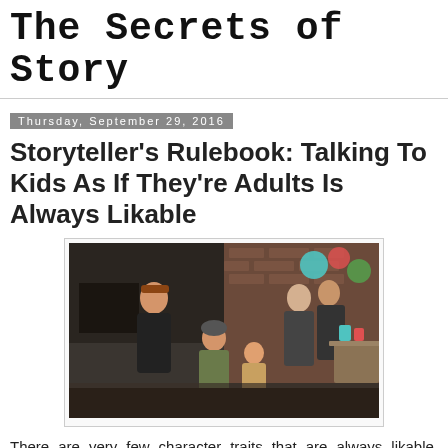The Secrets of Story
Thursday, September 29, 2016
Storyteller's Rulebook: Talking To Kids As If They're Adults Is Always Likable
[Figure (photo): A man crouching down talking to young children at what appears to be an indoor party with balloons, with adults in the background.]
There are very few character traits that are always likable, without feeling overdone or manipulative. Sure you can give your hero a three-legged dog, but that would be too blatantly pulling on our emotions. It's even worse when you want to make your hero seem cool and relaxed. Should he high-five a lot and call everybody dude? Give everybody nicknames? Play jazz piano?